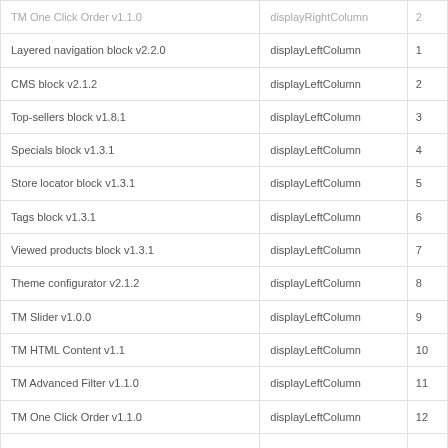| TM One Click Order v1.1.0 | displayRightColumn | 2 |
| Layered navigation block v2.2.0 | displayLeftColumn | 1 |
| CMS block v2.1.2 | displayLeftColumn | 2 |
| Top-sellers block v1.8.1 | displayLeftColumn | 3 |
| Specials block v1.3.1 | displayLeftColumn | 4 |
| Store locator block v1.3.1 | displayLeftColumn | 5 |
| Tags block v1.3.1 | displayLeftColumn | 6 |
| Viewed products block v1.3.1 | displayLeftColumn | 7 |
| Theme configurator v2.1.2 | displayLeftColumn | 8 |
| TM Slider v1.0.0 | displayLeftColumn | 9 |
| TM HTML Content v1.1 | displayLeftColumn | 10 |
| TM Advanced Filter v1.1.0 | displayLeftColumn | 11 |
| TM One Click Order v1.1.0 | displayLeftColumn | 12 |